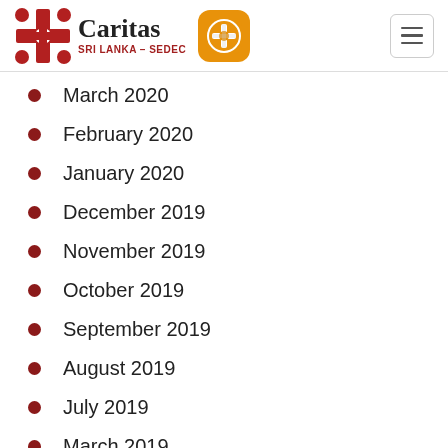[Figure (logo): Caritas Sri Lanka - SEDEC logo with cross symbol on left, and a mobile app icon (orange rounded square with cross) in the center, and a hamburger menu button on the right]
March 2020
February 2020
January 2020
December 2019
November 2019
October 2019
September 2019
August 2019
July 2019
March 2019
January 2019